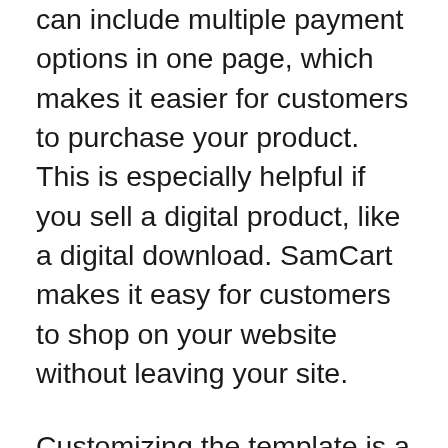can include multiple payment options in one page, which makes it easier for customers to purchase your product. This is especially helpful if you sell a digital product, like a digital download. SamCart makes it easy for customers to shop on your website without leaving your site.
Customizing the template is a breeze with SamCart. SamCart's toolbar makes it easy to modify your store. Simply enter the basic information about your products and upload any digital products that you wish to sell. You can customize your checkout pages with custom sections and testimonials. Your customers can pay in various ways, including PayPal, Apple Pay, and Google Pay. You can also set up installments and accept